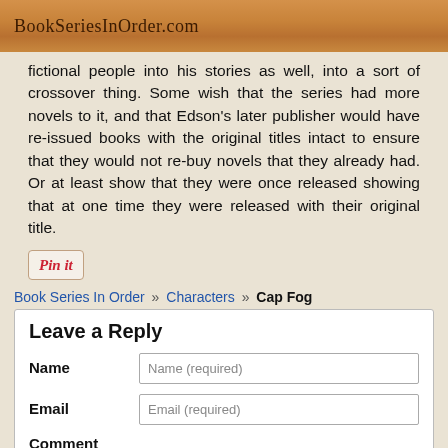BookSeriesInOrder.com
fictional people into his stories as well, into a sort of crossover thing. Some wish that the series had more novels to it, and that Edson's later publisher would have re-issued books with the original titles intact to ensure that they would not re-buy novels that they already had. Or at least show that they were once released showing that at one time they were released with their original title.
[Figure (other): Pin it button]
Book Series In Order » Characters » Cap Fog
Leave a Reply
Name
Email
Comment